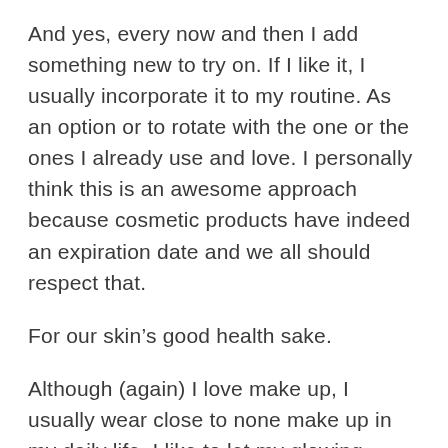And yes, every now and then I add something new to try on. If I like it, I usually incorporate it to my routine. As an option or to rotate with the one or the ones I already use and love. I personally think this is an awesome approach because cosmetic products have indeed an expiration date and we all should respect that.
For our skin’s good health sake.
Although (again) I love make up, I usually wear close to none make up in my daily life. I like to let my glowing natural skin do most of the talk. So the no makeup makeup look is my go-to look.